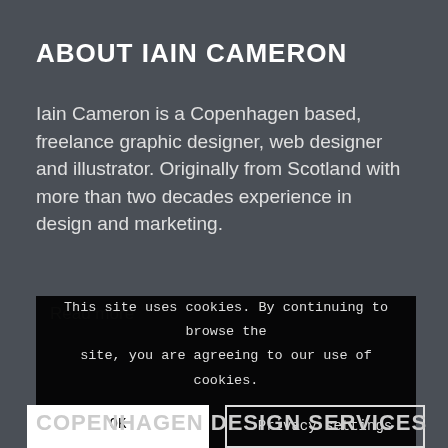ABOUT IAIN CAMERON
Iain Cameron is a Copenhagen based, freelance graphic designer, web designer and illustrator. Originally from Scotland with more than two decades experience in design and marketing.
Read more
This site uses cookies. By continuing to browse the site, you are agreeing to our use of cookies.
OK
Privacy settings
COPENHAGEN DESIGN SERVICES